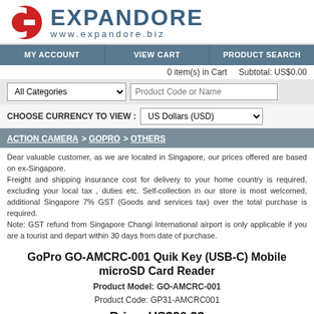[Figure (logo): Expandore logo with red stylized E icon and blue brand name EXPANDORE with www.expandore.biz URL]
MY ACCOUNT | VIEW CART | PRODUCT SEARCH
0 item(s) in Cart   Subtotal: US$0.00
All Categories [dropdown]   Product Code or Name [input]
CHOOSE CURRENCY TO VIEW : US Dollars (USD) [dropdown]
ACTION CAMERA > GOPRO > OTHERS
Dear valuable customer, as we are located in Singapore, our prices offered are based on ex-Singapore.
Freight and shipping insurance cost for delivery to your home country is required, excluding your local tax , duties etc. Self-collection in our store is most welcomed, additional Singapore 7% GST (Goods and services tax) over the total purchase is required.
Note: GST refund from Singapore Changi International airport is only applicable if you are a tourist and depart within 30 days from date of purchase.
GoPro GO-AMCRC-001 Quik Key (USB-C) Mobile microSD Card Reader
Product Model: GO-AMCRC-001
Product Code: GP31-AMCRC001
Price: US$26.33